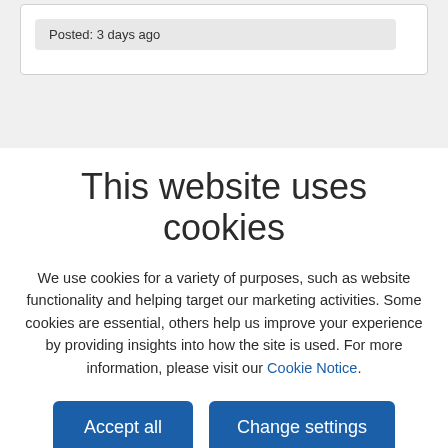Posted: 3 days ago
This website uses cookies
We use cookies for a variety of purposes, such as website functionality and helping target our marketing activities. Some cookies are essential, others help us improve your experience by providing insights into how the site is used. For more information, please visit our Cookie Notice.
Accept all
Change settings